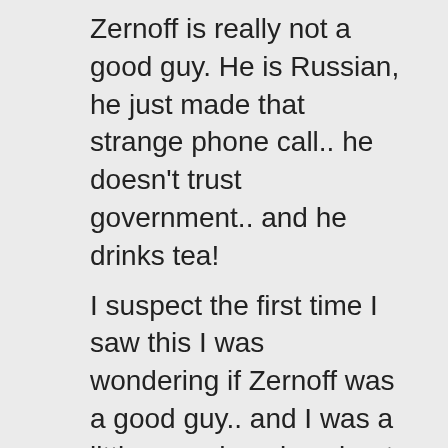Zernoff is really not a good guy. He is Russian, he just made that strange phone call.. he doesn't trust government.. and he drinks tea! I suspect the first time I saw this I was wondering if Zernoff was a good guy.. and I was a little apprehensive about Dotty's safety.. but of course in time this effect gets completely lost! Does anyone remember what they first thought of